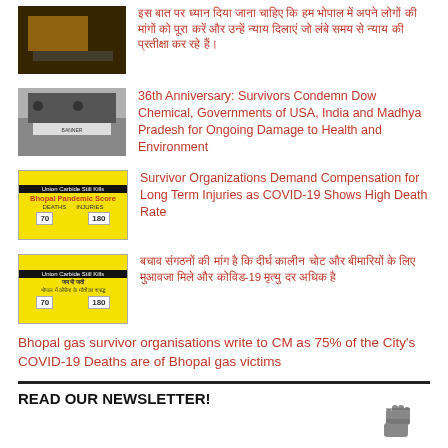[Figure (photo): Thumbnail image with dark/orange tones, appears to be a street scene]
हिंदी शीर्षक: भोपाल गैस पीड़ित संगठन ने सरकार से मांगा मुआवजा और अन्य मांगों के लिए आंदोलन
[Figure (photo): Thumbnail image showing protesters holding a banner]
36th Anniversary: Survivors Condemn Dow Chemical, Governments of USA, India and Madhya Pradesh for Ongoing Damage to Health and Environment
[Figure (photo): Yellow scorecard style graphic - Bhopal Pandemic Score]
Survivor Organizations Demand Compensation for Long Term Injuries as COVID-19 Shows High Death Rate
[Figure (photo): Yellow scorecard style graphic - similar to above]
बचाव संगठनों की मांग कि लंबे समय की चोट और बीमारियों हेतु मुआवजा मिले
Bhopal gas survivor organisations write to CM as 75% of the City's COVID-19 Deaths are of Bhopal gas victims
READ OUR NEWSLETTER!